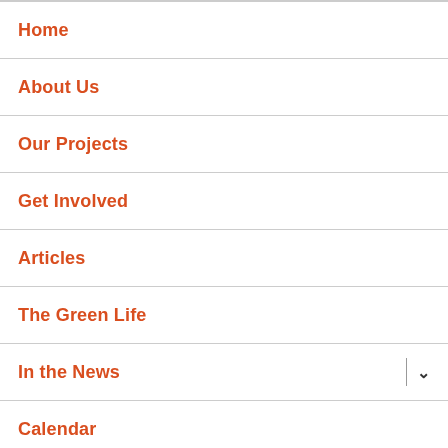Home
About Us
Our Projects
Get Involved
Articles
The Green Life
In the News
Calendar
Native Garden Contest